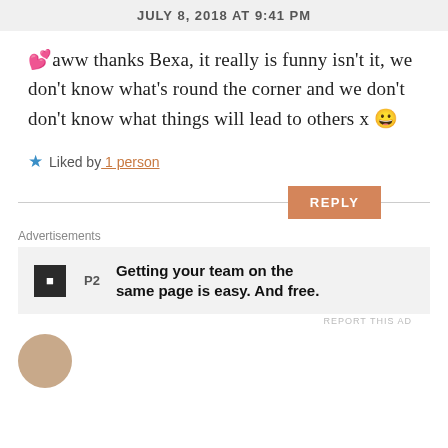JULY 8, 2018 AT 9:41 PM
💕aww thanks Bexa, it really is funny isn't it, we don't know what's round the corner and we don't don't know what things will lead to others x 😀
★ Liked by 1 person
REPLY
Advertisements
Getting your team on the same page is easy. And free.
REPORT THIS AD